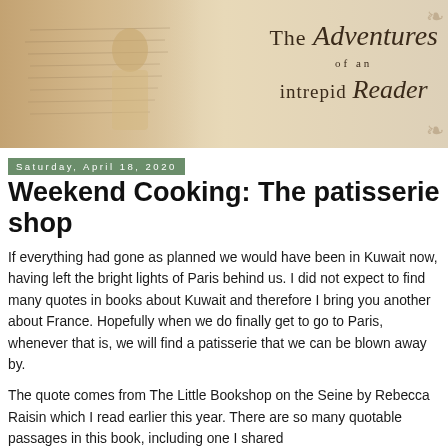[Figure (illustration): Blog banner image: sepia-toned vintage photo of a man with handwritten journal pages on the left, and decorative script text reading 'The Adventures of an intrepid Reader' on the right with ornamental flourishes.]
Saturday, April 18, 2020
Weekend Cooking: The patisserie shop
If everything had gone as planned we would have been in Kuwait now, having left the bright lights of Paris behind us. I did not expect to find many quotes in books about Kuwait and therefore I bring you another about France. Hopefully when we do finally get to go to Paris, whenever that is, we will find a patisserie that we can be blown away by.
The quote comes from The Little Bookshop on the Seine by Rebecca Raisin which I read earlier this year. There are so many quotable passages in this book, including one I shared last year, and there are others that have on a especially...